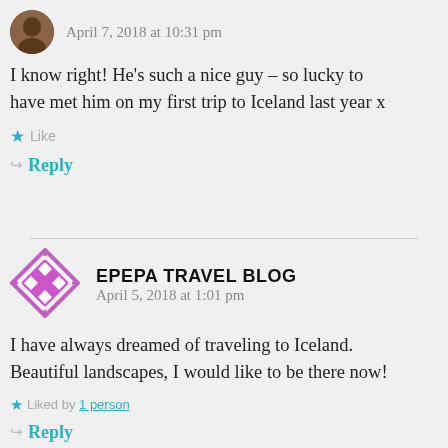April 7, 2018 at 10:31 pm
I know right! He's such a nice guy – so lucky to have met him on my first trip to Iceland last year x
Like
Reply
EPEPA TRAVEL BLOG
April 5, 2018 at 1:01 pm
I have always dreamed of traveling to Iceland. Beautiful landscapes, I would like to be there now!
Liked by 1 person
Reply